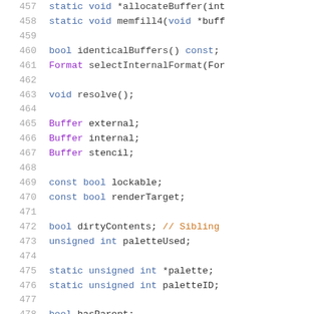[Figure (screenshot): Source code listing showing C++ class member declarations, lines 457-478, on white background with syntax highlighting. Line numbers in gray on left, keywords in blue/purple, type names in purple, identifiers in dark, comments in orange.]